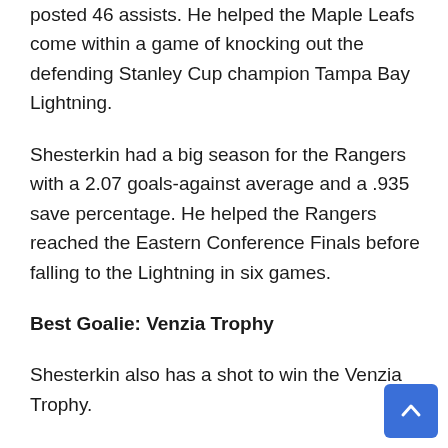posted 46 assists. He helped the Maple Leafs come within a game of knocking out the defending Stanley Cup champion Tampa Bay Lightning.
Shesterkin had a big season for the Rangers with a 2.07 goals-against average and a .935 save percentage. He helped the Rangers reached the Eastern Conference Finals before falling to the Lightning in six games.
Best Goalie: Venzia Trophy
Shesterkin also has a shot to win the Venzia Trophy.
Calgary Flames goalie Jacob Markstrom could also nab award. Markstrom had a 2.22 goals